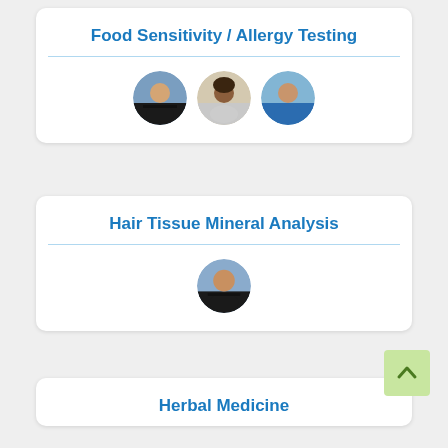Food Sensitivity / Allergy Testing
[Figure (photo): Three circular avatar photos of practitioners]
Hair Tissue Mineral Analysis
[Figure (photo): One circular avatar photo of a practitioner]
Herbal Medicine